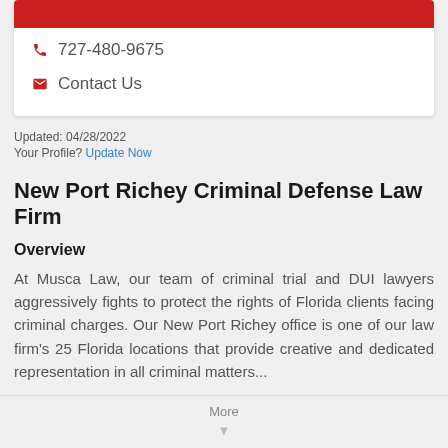[Figure (other): Red button bar at top of card]
727-480-9675
Contact Us
Updated: 04/28/2022
Your Profile? Update Now
New Port Richey Criminal Defense Law Firm
Overview
At Musca Law, our team of criminal trial and DUI lawyers aggressively fights to protect the rights of Florida clients facing criminal charges. Our New Port Richey office is one of our law firm's 25 Florida locations that provide creative and dedicated representation in all criminal matters...
More